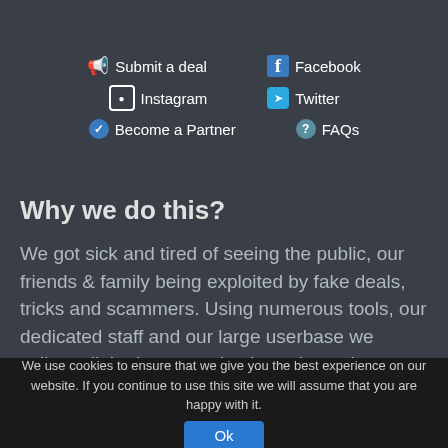📢 Submit a deal    f Facebook
📷 Instagram    🐦 Twitter
✔ Become a Partner    ? FAQs
Why we do this?
We got sick and tired of seeing the public, our friends & family being exploited by fake deals, tricks and scammers. Using numerous tools, our dedicated staff and our large userbase we collate all the best genuine bargains, price glitches, profit-making ideas, scams, hidden tricks, freebies
We use cookies to ensure that we give you the best experience on our website. If you continue to use this site we will assume that you are happy with it.